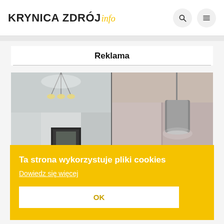[Figure (logo): Krynica Zdrój info logo with search and menu icons]
Reklama
[Figure (photo): Interior room photo collage showing ceiling lights and pendant lamp]
Ta strona wykorzystuje pliki cookies
Dowiedz się więcej
OK